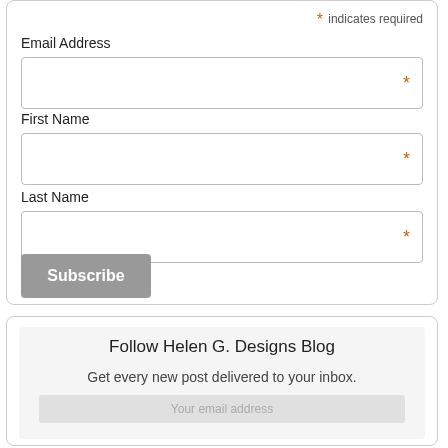* indicates required
Email Address
First Name
Last Name
Subscribe
Follow Helen G. Designs Blog
Get every new post delivered to your inbox.
Your email address